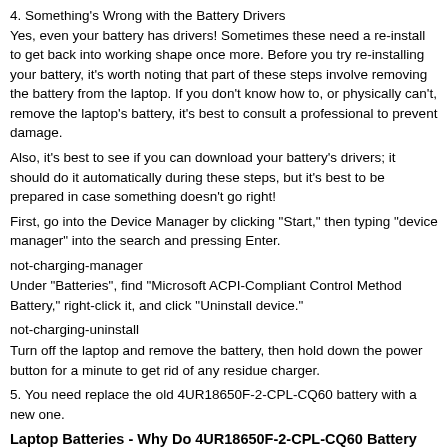4. Something's Wrong with the Battery Drivers
Yes, even your battery has drivers! Sometimes these need a re-install to get back into working shape once more. Before you try re-installing your battery, it's worth noting that part of these steps involve removing the battery from the laptop. If you don't know how to, or physically can't, remove the laptop's battery, it's best to consult a professional to prevent damage.
Also, it's best to see if you can download your battery's drivers; it should do it automatically during these steps, but it's best to be prepared in case something doesn't go right!
First, go into the Device Manager by clicking "Start," then typing "device manager" into the search and pressing Enter.
not-charging-manager
Under "Batteries", find "Microsoft ACPI-Compliant Control Method Battery," right-click it, and click "Uninstall device."
not-charging-uninstall
Turn off the laptop and remove the battery, then hold down the power button for a minute to get rid of any residue charger.
5. You need replace the old 4UR18650F-2-CPL-CQ60 battery with a new one.
Laptop Batteries - Why Do 4UR18650F-2-CPL-CQ60 Battery Have a Short Lifespan?
If you do own a laptop, you should know that they are simply as portable as the next discount store. Most companies that promote their laptop batteries manufacture these equipments so that they may be used any where and there will be no setback but there is a setback. You just have a few hours maximum of usual word processing type and then you are done except if you have a backup